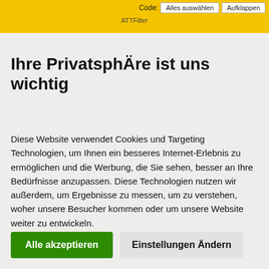Code: Alles auswählen  Aufklappen
ATTFilter
Ihre Privatsphäre ist uns wichtig
Diese Website verwendet Cookies und Targeting Technologien, um Ihnen ein besseres Internet-Erlebnis zu ermöglichen und die Werbung, die Sie sehen, besser an Ihre Bedürfnisse anzupassen. Diese Technologien nutzen wir außerdem, um Ergebnisse zu messen, um zu verstehen, woher unsere Besucher kommen oder um unsere Website weiter zu entwickeln.
Alle akzeptieren
Einstellungen Ändern